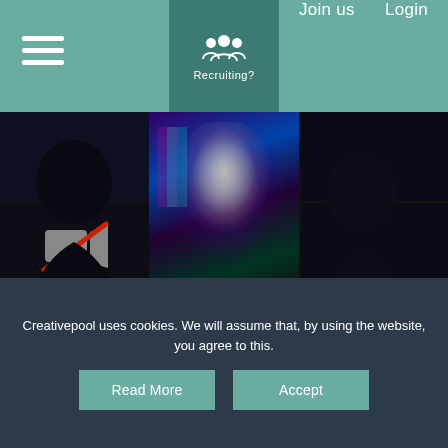Recruiting? | Join us | Login
[Figure (screenshot): Madbird video call grid showing a man's face with glitch effect, silhouettes of people, a camera-off icon, and teal/dark backgrounds with MADBIRD logo text]
FEATURES
Jobfishing - The fake design
Creativepool uses cookies. We will assume that, by using the website, you agree to this.
Read More | Accept